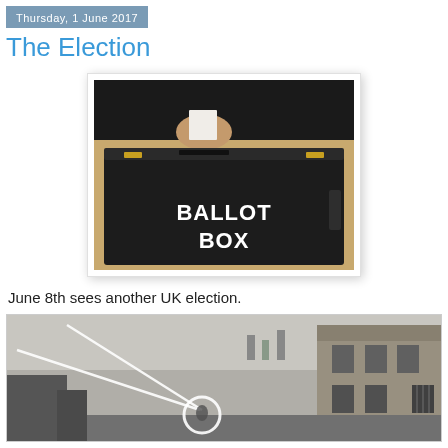Thursday, 1 June 2017
The Election
[Figure (photo): A hand inserting a ballot paper into a black plastic ballot box labeled BALLOT BOX in white text.]
June 8th sees another UK election.
[Figure (photo): A black and white historical photograph of a street scene with a building, showing what appears to be an early 20th century UK scene with a circular highlighted area.]